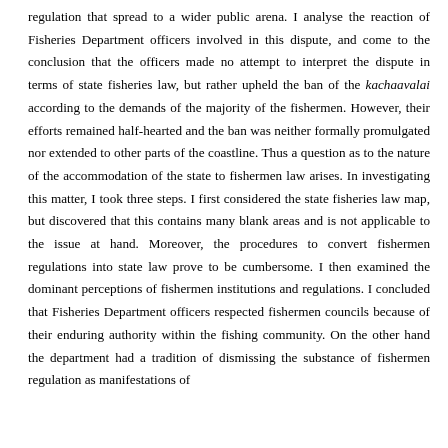regulation that spread to a wider public arena. I analyse the reaction of Fisheries Department officers involved in this dispute, and come to the conclusion that the officers made no attempt to interpret the dispute in terms of state fisheries law, but rather upheld the ban of the kachaavalai according to the demands of the majority of the fishermen. However, their efforts remained half-hearted and the ban was neither formally promulgated nor extended to other parts of the coastline. Thus a question as to the nature of the accommodation of the state to fishermen law arises. In investigating this matter, I took three steps. I first considered the state fisheries law map, but discovered that this contains many blank areas and is not applicable to the issue at hand. Moreover, the procedures to convert fishermen regulations into state law prove to be cumbersome. I then examined the dominant perceptions of fishermen institutions and regulations. I concluded that Fisheries Department officers respected fishermen councils because of their enduring authority within the fishing community. On the other hand the department had a tradition of dismissing the substance of fishermen regulation as manifestations of